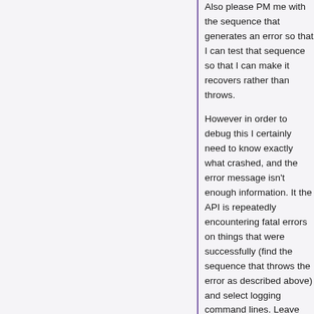Also please PM me with the sequence that generates an error so that I can test that sequence so that I can make it recovers rather than throws.

However in order to debug this I certainly need to know exactly what crashed, and the error message isn't enough information. It the API is repeatedly encountering fatal errors on things that were successfully (find the sequence that throws the error as described above) and select logging command lines. Leave the API Scripts page. Every time an API is logged to the console log. Then copy the last few lines of the log. Send them and a detailed description done in a PM to me. You might invite in your campaign so that I can see what having the problem. Finding